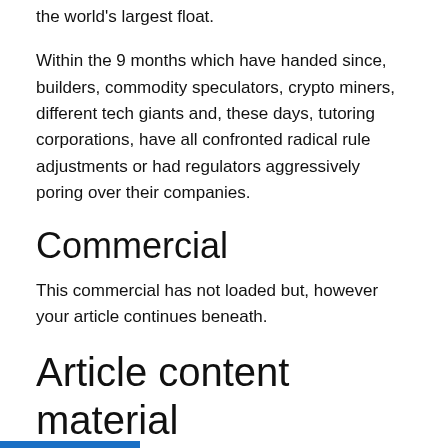the world's largest float.
Within the 9 months which have handed since, builders, commodity speculators, crypto miners, different tech giants and, these days, tutoring corporations, have all confronted radical rule adjustments or had regulators aggressively poring over their companies.
Commercial
This commercial has not loaded but, however your article continues beneath.
Article content material
The Hold Seng Tech index, launched with fanfare final July and comprising web darlings-turned-gargantuan blue chips akin to Tencent and Alibaba, has cratered 40% since